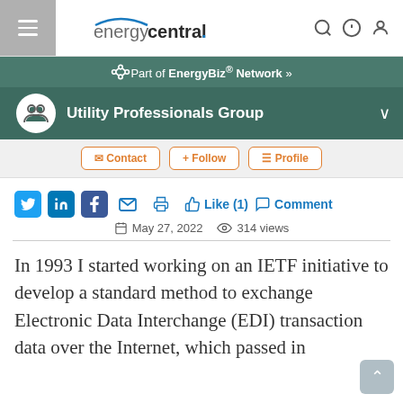energycentral.
Part of EnergyBiz® Network »
Utility Professionals Group
Contact  Follow  Profile
Like (1)  Comment  May 27, 2022  314 views
In 1993 I started working on an IETF initiative to develop a standard method to exchange Electronic Data Interchange (EDI) transaction data over the Internet, which passed in